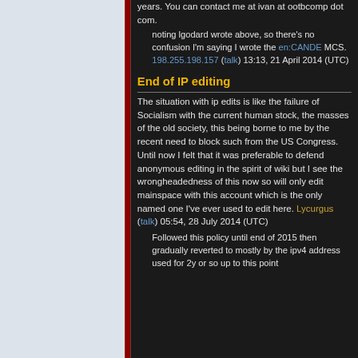years. You can contact me at ivan at ootbcomp dot com.
noting lgodard wrote above, so there's no confusion I'm saying I wrote the en:CANDE MCS. 198.255.198.157 (talk) 13:13, 21 April 2014 (UTC)
End of IP editing
The situation with ip edits is like the failure of Socialism with the current human stock, the masses of the old society, this being borne to me by the recent need to block such from the US Congress. Until now I felt that it was preferable to defend anonymous editing in the spirit of wiki but I see the wrongheadedness of this now so will only edit mainspace with this account which is the only named one I've ever used to edit here. Lycurgus (talk) 05:54, 28 July 2014 (UTC)
Followed this policy until end of 2015 then gradually reverted to mostly by the ipv4 address used for 2y or so up to this point